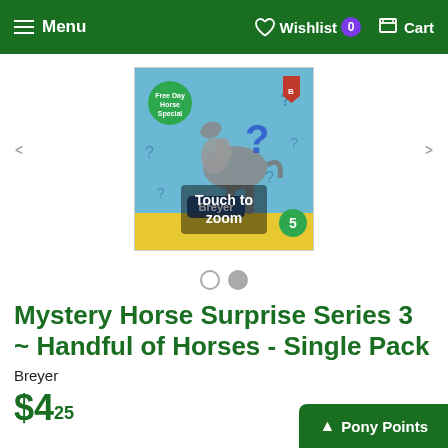Menu  Wishlist 0  Cart
[Figure (photo): Product image of Mystery Horse Surprise Series 3 - Handful of Horses Single Pack by Breyer, showing a mystery bag with a horse silhouette and question marks. Overlay text reads 'Touch to zoom'.]
Mystery Horse Surprise Series 3 ~ Handful of Horses - Single Pack
Breyer
$4.25
Pony Points